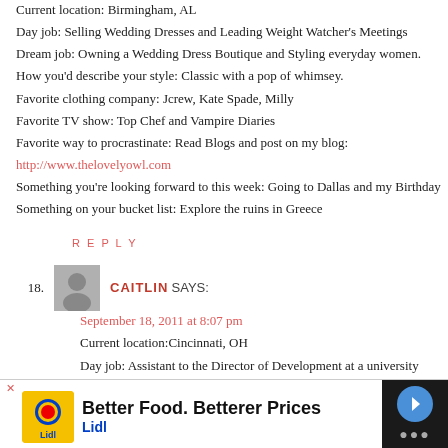Current location: Birmingham, AL
Day job: Selling Wedding Dresses and Leading Weight Watcher's Meetings
Dream job: Owning a Wedding Dress Boutique and Styling everyday women.
How you'd describe your style: Classic with a pop of whimsey.
Favorite clothing company: Jcrew, Kate Spade, Milly
Favorite TV show: Top Chef and Vampire Diaries
Favorite way to procrastinate: Read Blogs and post on my blog:
http://www.thelovelyowl.com
Something you're looking forward to this week: Going to Dallas and my Birthday
Something on your bucket list: Explore the ruins in Greece
REPLY
18. CAITLIN SAYS:
September 18, 2011 at 8:07 pm
Current location:Cincinnati, OH
Day job: Assistant to the Director of Development at a university
Dream job: Blogger and/or editor at a design magazine. Or a world traveler =D.
How you'd describe your style: Simple, comfortable, neutral.
Favorite clothing company: gap, h&m, emersonmade, zara
Favorite TV show: Friends
[Figure (infographic): Advertisement banner for Lidl: 'Better Food. Betterer Prices' with Lidl logo and navigation arrow icon.]